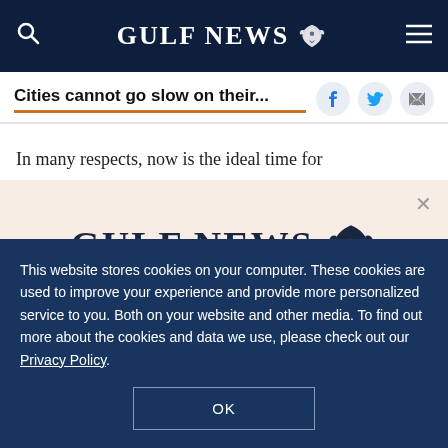GULF NEWS
Cities cannot go slow on their...
In many respects, now is the ideal time for
[Figure (logo): Gulf News logo with eagle emblem and text 'GULF NEWS']
A special offer for our readers
Get the two years All-Access subscription now
This website stores cookies on your computer. These cookies are used to improve your experience and provide more personalized service to you. Both on your website and other media. To find out more about the cookies and data we use, please check out our Privacy Policy.
OK